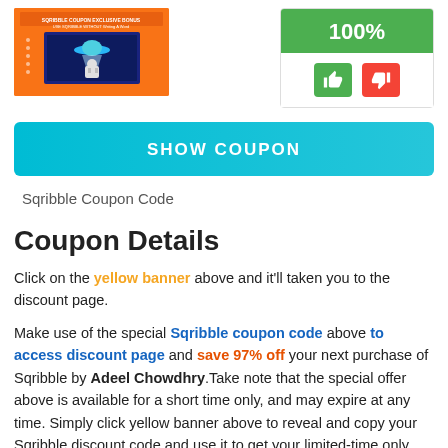[Figure (illustration): Product image: orange background with text and a character illustration (robot/alien with UFO), appears to be a course or ebook cover for Sqribble]
[Figure (infographic): Rating box showing 100% in a green banner at top, with two buttons below: a green thumbs-up button and a red thumbs-down button]
SHOW COUPON
Sqribble Coupon Code
Coupon Details
Click on the yellow banner above and it’ll taken you to the discount page.
Make use of the special Sqribble coupon code above to access discount page and save 97% off your next purchase of Sqribble by Adeel Chowdhry.Take note that the special offer above is available for a short time only, and may expire at any time. Simply click yellow banner above to reveal and copy your Sqribble discount code and use it to get your limited-time only deal.If the